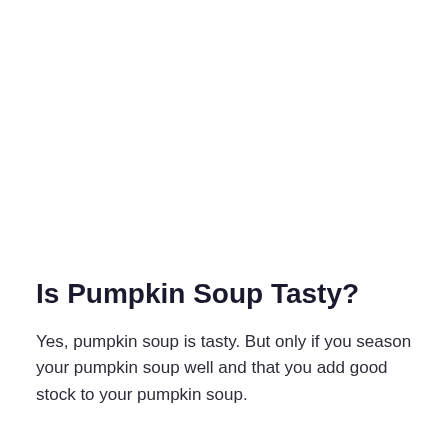Is Pumpkin Soup Tasty?
Yes, pumpkin soup is tasty. But only if you season your pumpkin soup well and that you add good stock to your pumpkin soup.